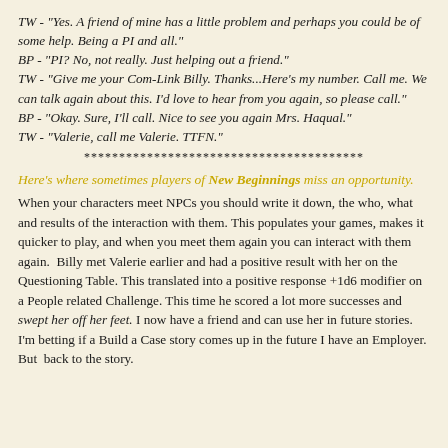TW - "Yes. A friend of mine has a little problem and perhaps you could be of some help. Being a PI and all."
BP - "PI? No, not really. Just helping out a friend."
TW - "Give me your Com-Link Billy. Thanks...Here's my number. Call me. We can talk again about this. I'd love to hear from you again, so please call."
BP - "Okay. Sure, I'll call. Nice to see you again Mrs. Haqual."
TW - "Valerie, call me Valerie. TTFN."
****************************************
Here's where sometimes players of New Beginnings miss an opportunity.
When your characters meet NPCs you should write it down, the who, what and results of the interaction with them. This populates your games, makes it quicker to play, and when you meet them again you can interact with them again.  Billy met Valerie earlier and had a positive result with her on the Questioning Table. This translated into a positive response +1d6 modifier on a People related Challenge. This time he scored a lot more successes and swept her off her feet. I now have a friend and can use her in future stories. I'm betting if a Build a Case story comes up in the future I have an Employer. But  back to the story.